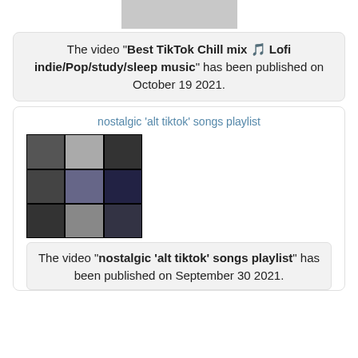[Figure (photo): Gray placeholder image at top of page]
The video "Best TikTok Chill mix 🎵 Lofi indie/Pop/study/sleep music" has been published on October 19 2021.
nostalgic 'alt tiktok' songs playlist
[Figure (photo): Dark playlist thumbnail with grid of black and white images showing butterflies and nature]
The video "nostalgic 'alt tiktok' songs playlist" has been published on September 30 2021.